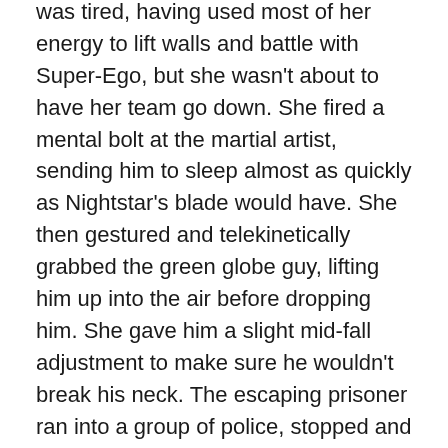was tired, having used most of her energy to lift walls and battle with Super-Ego, but she wasn't about to have her team go down. She fired a mental bolt at the martial artist, sending him to sleep almost as quickly as Nightstar's blade would have. She then gestured and telekinetically grabbed the green globe guy, lifting him up into the air before dropping him. She gave him a slight mid-fall adjustment to make sure he wouldn't break his neck. The escaping prisoner ran into a group of police, stopped and raised his hands.
Nightstar started getting to his feet. She projected her thoughts, “Nightstar, how are you?”
He thought back, “I’ll be fine once my eyes decide they want to work again.”
She started running toward the section where Protector